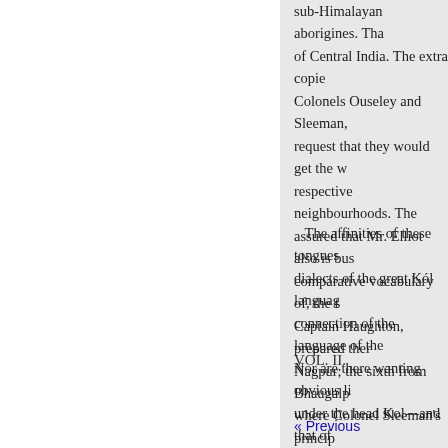sub-Himalayan aborigines. That of Central India. The extra copies Colonels Ouseley and Sleeman, request that they would get the w respective neighbourhoods. The assured that Mr. Elliot also is bus comparative vocabulary of, the t Captain Haughton, prepared ther Nagpur; the sixth from Bhaugalp where Colonel Sleeman's princip
The affinities of these tongues dialects of the great Kól languag connection of the language of the Nor are there wanting obvious li under the head Kol—and that of Mr. Elliot to have much resembla Thus we are already rapidly appr Koch, Bódó, and Dhimál, to wit,
VOL. II.
« Previous